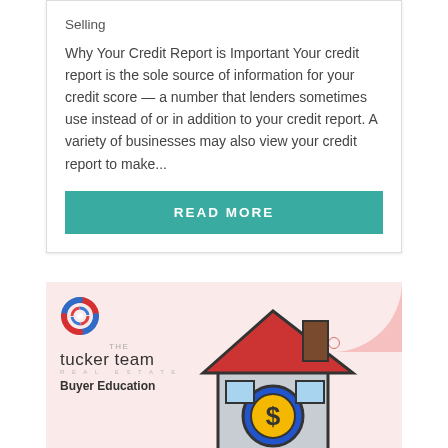Selling
Why Your Credit Report is Important Your credit report is the sole source of information for your credit score — a number that lenders sometimes use instead of or in addition to your credit report. A variety of businesses may also view your credit report to make...
READ MORE
[Figure (illustration): Tucker Team Real Estate Buyer Education card with logo, house illustration with dollar sign, pink background, decorative pink quarter-circle corner, and three empty circles]